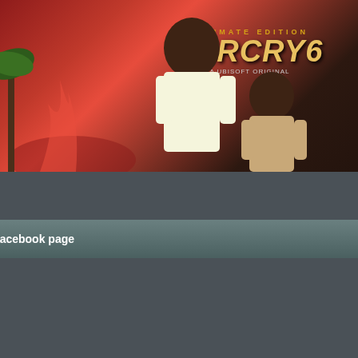[Figure (screenshot): Far Cry 6 Ultimate Edition game cover art showing two characters against a red background with jungle elements]
facebook page
with nature restored due to ye... Ganthar has spread to the pla... graphics in a gigantic open wo... the Volcan Towers, you are the...
Earth was left behind due to m... Humanity returned to its hom... mission. You play as Sollum, e... happened during the coloniza... your base, and recall your pas...
Related Posts
[Figure (screenshot): Defend the Rook game cover with purple fantasy landscape]
Defend the Rook-GOG...
[Figure (screenshot): Second related game cover with colorful fantasy characters]